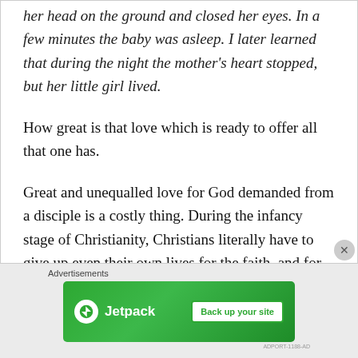her head on the ground and closed her eyes. In a few minutes the baby was asleep. I later learned that during the night the mother's heart stopped, but her little girl lived.
How great is that love which is ready to offer all that one has.
Great and unequalled love for God demanded from a disciple is a costly thing. During the infancy stage of Christianity, Christians literally have to give up even their own lives for the faith, and for these we have today martyrs.
Advertisements
[Figure (other): Jetpack advertisement banner with green background showing Jetpack logo and 'Back up your site' button]